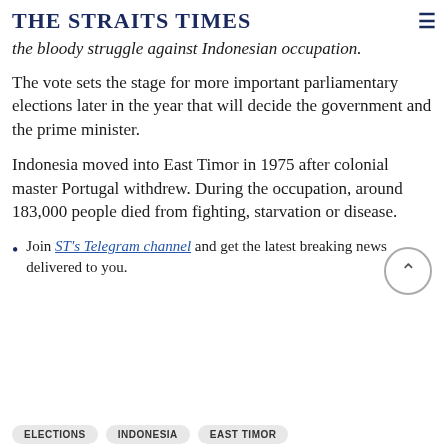THE STRAITS TIMES
the bloody struggle against Indonesian occupation.
The vote sets the stage for more important parliamentary elections later in the year that will decide the government and the prime minister.
Indonesia moved into East Timor in 1975 after colonial master Portugal withdrew. During the occupation, around 183,000 people died from fighting, starvation or disease.
Join ST's Telegram channel and get the latest breaking news delivered to you.
ELECTIONS   INDONESIA   EAST TIMOR